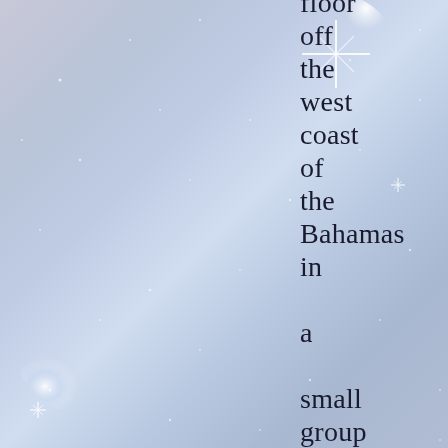floor off the west coast of the Bahamas in a small group of islands called the Biminis.

Here on the floor